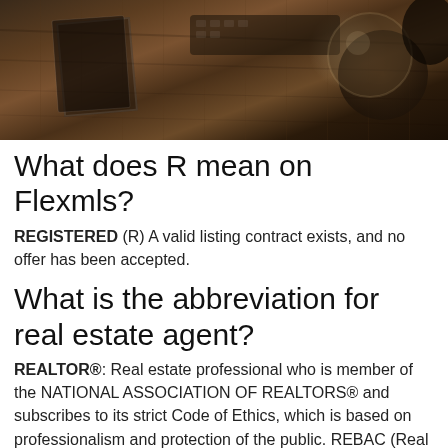[Figure (photo): Dark overhead photo of a wooden desk with various items including what appears to be books or papers, a keyboard, and a glass or round object]
What does R mean on Flexmls?
REGISTERED (R) A valid listing contract exists, and no offer has been accepted.
What is the abbreviation for real estate agent?
REALTOR®: Real estate professional who is member of the NATIONAL ASSOCIATION OF REALTORS® and subscribes to its strict Code of Ethics, which is based on professionalism and protection of the public. REBAC (Real Estate Buyer's Agent Council) b...